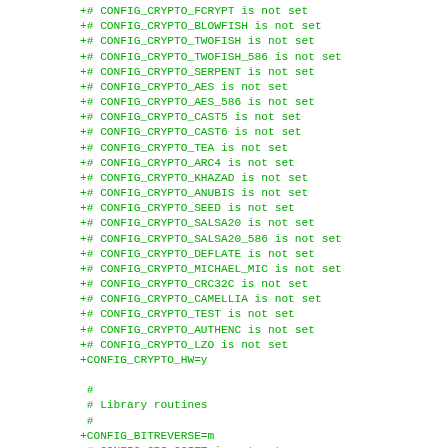+# CONFIG_CRYPTO_FCRYPT is not set
+# CONFIG_CRYPTO_BLOWFISH is not set
+# CONFIG_CRYPTO_TWOFISH is not set
+# CONFIG_CRYPTO_TWOFISH_586 is not set
+# CONFIG_CRYPTO_SERPENT is not set
+# CONFIG_CRYPTO_AES is not set
+# CONFIG_CRYPTO_AES_586 is not set
+# CONFIG_CRYPTO_CAST5 is not set
+# CONFIG_CRYPTO_CAST6 is not set
+# CONFIG_CRYPTO_TEA is not set
+# CONFIG_CRYPTO_ARC4 is not set
+# CONFIG_CRYPTO_KHAZAD is not set
+# CONFIG_CRYPTO_ANUBIS is not set
+# CONFIG_CRYPTO_SEED is not set
+# CONFIG_CRYPTO_SALSA20 is not set
+# CONFIG_CRYPTO_SALSA20_586 is not set
+# CONFIG_CRYPTO_DEFLATE is not set
+# CONFIG_CRYPTO_MICHAEL_MIC is not set
+# CONFIG_CRYPTO_CRC32C is not set
+# CONFIG_CRYPTO_CAMELLIA is not set
+# CONFIG_CRYPTO_TEST is not set
+# CONFIG_CRYPTO_AUTHENC is not set
+# CONFIG_CRYPTO_LZO is not set
+CONFIG_CRYPTO_HW=y

 #
 # Library routines
 #
+CONFIG_BITREVERSE=m
 # CONFIG_CRC_CCITT is not set
 # CONFIG_CRC16 is not set